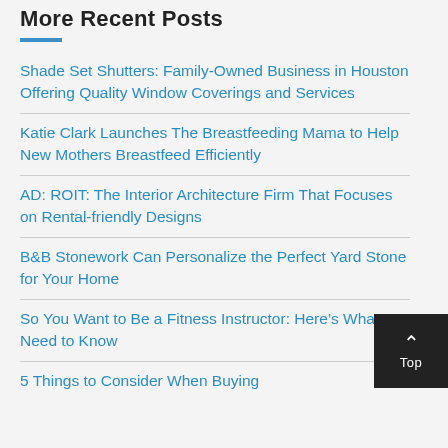More Recent Posts
Shade Set Shutters: Family-Owned Business in Houston Offering Quality Window Coverings and Services
Katie Clark Launches The Breastfeeding Mama to Help New Mothers Breastfeed Efficiently
AD: ROIT: The Interior Architecture Firm That Focuses on Rental-friendly Designs
B&B Stonework Can Personalize the Perfect Yard Stone for Your Home
So You Want to Be a Fitness Instructor: Here’s What You Need to Know
5 Things to Consider When Buying